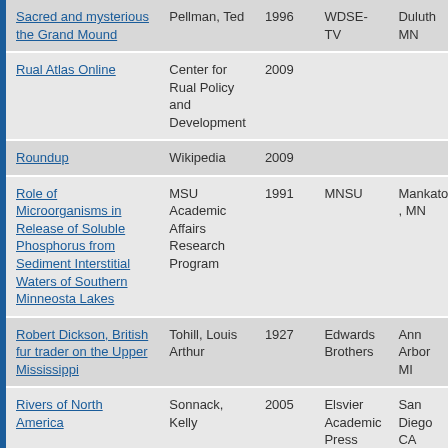| Title | Author | Year | Publisher | Location |
| --- | --- | --- | --- | --- |
| Sacred and mysterious the Grand Mound | Pellman, Ted | 1996 | WDSE-TV | Duluth MN |
| Rual Atlas Online | Center for Rual Policy and Development | 2009 |  |  |
| Roundup | Wikipedia | 2009 |  |  |
| Role of Microorganisms in Release of Soluble Phosphorus from Sediment Interstitial Waters of Southern Minneosta Lakes | MSU Academic Affairs Research Program | 1991 | MNSU | Mankato, MN |
| Robert Dickson, British fur trader on the Upper Mississippi | Tohill, Louis Arthur | 1927 | Edwards Brothers | Ann Arbor MI |
| Rivers of North America | Sonnack, Kelly | 2005 | Elsvier Academic Press | San Diego CA |